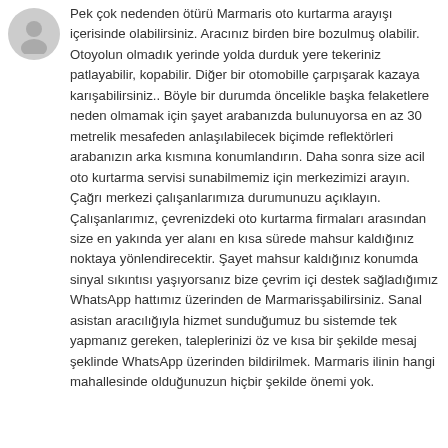[Figure (illustration): User avatar icon, circular gray placeholder with a silhouette]
Pek çok nedenden ötürü Marmaris oto kurtarma arayışı içerisinde olabilirsiniz. Aracınız birden bire bozulmuş olabilir. Otoyolun olmadık yerinde yolda durduk yere tekeriniz patlayabilir, kopabilir. Diğer bir otomobille çarpışarak kazaya karışabilirsiniz.. Böyle bir durumda öncelikle başka felaketlere neden olmamak için şayet arabanızda bulunuyorsa en az 30 metrelik mesafeden anlaşılabilecek biçimde reflektörleri arabanızın arka kısmına konumlandırın. Daha sonra size acil oto kurtarma servisi sunabilmemiz için merkezimizi arayın. Çağrı merkezi çalışanlarımıza durumunuzu açıklayın. Çalışanlarımız, çevrenizdeki oto kurtarma firmaları arasından size en yakında yer alanı en kısa sürede mahsur kaldığınız noktaya yönlendirecektir. Şayet mahsur kaldığınız konumda sinyal sıkıntısı yaşıyorsanız bize çevrim içi destek sağladığımız WhatsApp hattımız üzerinden de Marmarisşabilirsiniz. Sanal asistan aracılığıyla hizmet sunduğumuz bu sistemde tek yapmanız gereken, taleplerinizi öz ve kısa bir şekilde mesaj şeklinde WhatsApp üzerinden bildirilmek. Marmaris ilinin hangi mahallesinde olduğunuzun hiçbir şekilde önemi yok.